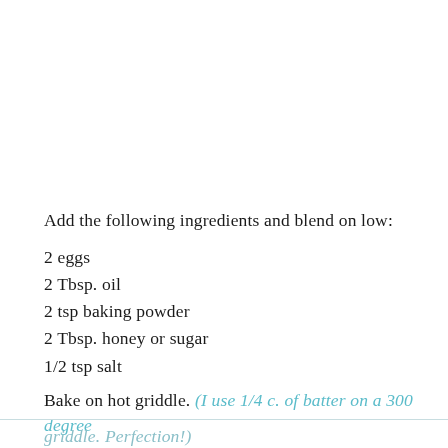Add the following ingredients and blend on low:
2 eggs
2 Tbsp. oil
2 tsp baking powder
2 Tbsp. honey or sugar
1/2 tsp salt
Bake on hot griddle. (I use 1/4 c. of batter on a 300 degree griddle. Perfection!)
Waffle variation: Use above recipe and add on